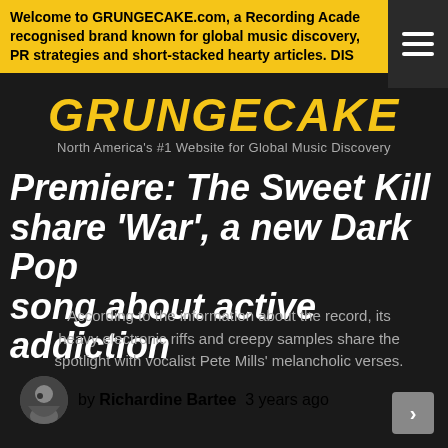Welcome to GRUNGECAKE.com, a Recording Academy recognised brand known for global music discovery, PR strategies and short-stacked hearty articles. DIS
GRUNGECAKE
North America's #1 Website for Global Music Discovery
Premiere: The Sweet Kill share 'War', a new Dark Pop song about active addiction
According to the information about the record, its heavy electronic riffs and creepy samples share the spotlight with vocalist Pete Mills' melancholic verses.
by Richardine Bartee 3 years ago